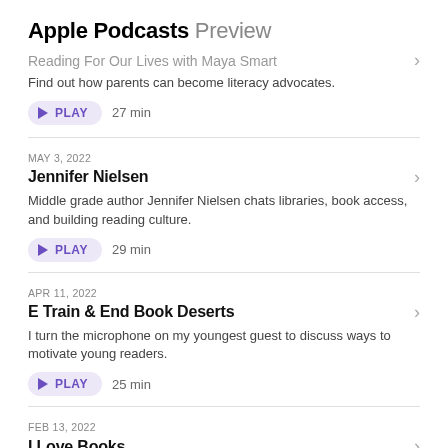Apple Podcasts Preview
Reading For Our Lives with Maya Smart
Find out how parents can become literacy advocates.
PLAY  27 min
MAY 3, 2022
Jennifer Nielsen
Middle grade author Jennifer Nielsen chats libraries, book access, and building reading culture.
PLAY  29 min
APR 11, 2022
E Train & End Book Deserts
I turn the microphone on my youngest guest to discuss ways to motivate young readers.
PLAY  25 min
FEB 13, 2022
I Love Books
Tune in for a conversation with literacy expert Cornelius Minor and Jonathon Beatty - as we chat hip hop, literacy,